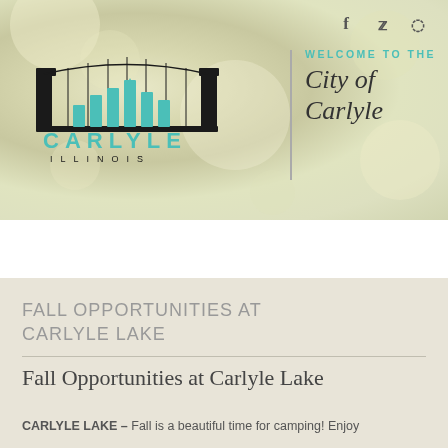[Figure (logo): City of Carlyle, Illinois logo with bridge graphic and teal/black text, plus 'Welcome to the City of Carlyle' text on the right. Social media icons (Facebook, Twitter, Pinterest) in top right corner.]
Menu
FALL OPPORTUNITIES AT CARLYLE LAKE
Fall Opportunities at Carlyle Lake
CARLYLE LAKE – Fall is a beautiful time for camping! Enjoy